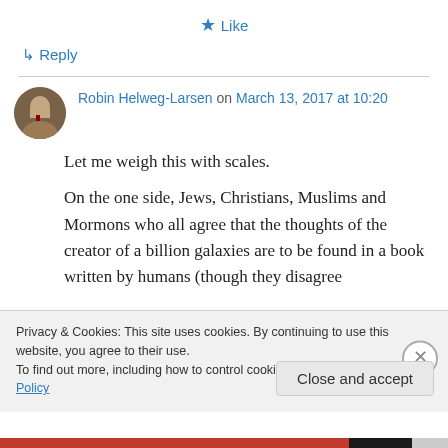★ Like
↳ Reply
Robin Helweg-Larsen on March 13, 2017 at 10:20
Let me weigh this with scales.

On the one side, Jews, Christians, Muslims and Mormons who all agree that the thoughts of the creator of a billion galaxies are to be found in a book written by humans (though they disagree
Privacy & Cookies: This site uses cookies. By continuing to use this website, you agree to their use.
To find out more, including how to control cookies, see here: Cookie Policy
Close and accept